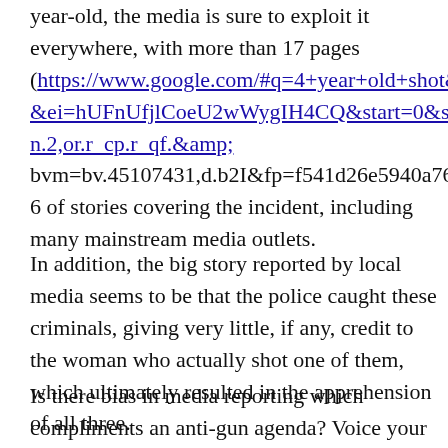year-old, the media is sure to exploit it everywhere, with more than 17 pages (https://www.google.com/#q=4+year+old+shot&hl=en&ei=hUFnUfjlCoeU2wWygIH4CQ&start=0&sa=N&bav=on.2,or.r_cp.r_qf.&amp;bvm=bv.45107431,d.b2I&fp=f541d26e5940a762&biw=1366 of stories covering the incident, including many mainstream media outlets.
In addition, the big story reported by local media seems to be that the police caught these criminals, giving very little, if any, credit to the woman who actually shot one of them, which ultimately resulted in the apprehension of all three.
Is there bias in media reporting which compliments an anti-gun agenda? Voice your opinions below.